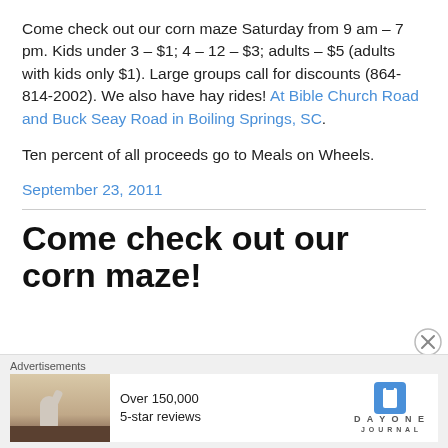Come check out our corn maze Saturday from 9 am – 7 pm. Kids under 3 – $1; 4 – 12 – $3; adults – $5 (adults with kids only $1). Large groups call for discounts (864-814-2002). We also have hay rides! At Bible Church Road and Buck Seay Road in Boiling Springs, SC.
Ten percent of all proceeds go to Meals on Wheels.
September 23, 2011
Come check out our corn maze!
[Figure (other): Advertisement banner: DayOne Journal app ad with photo of person and text 'Over 150,000 5-star reviews']